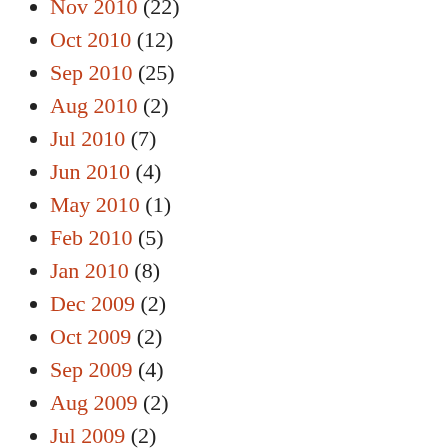Nov 2010 (22)
Oct 2010 (12)
Sep 2010 (25)
Aug 2010 (2)
Jul 2010 (7)
Jun 2010 (4)
May 2010 (1)
Feb 2010 (5)
Jan 2010 (8)
Dec 2009 (2)
Oct 2009 (2)
Sep 2009 (4)
Aug 2009 (2)
Jul 2009 (2)
Jun 2009 (1)
Apr 2009 (2)
Feb 2009 (2)